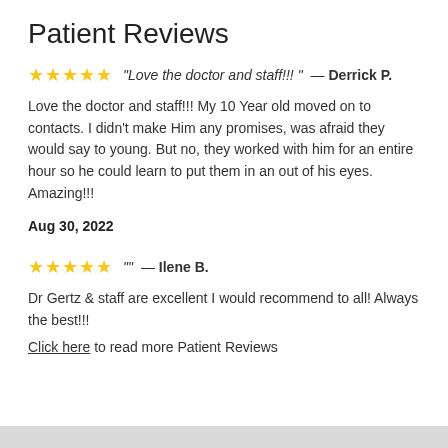Patient Reviews
"Love the doctor and staff!!! " — Derrick P.
Love the doctor and staff!!! My 10 Year old moved on to contacts. I didn't make Him any promises, was afraid they would say to young. But no, they worked with him for an entire hour so he could learn to put them in an out of his eyes. Amazing!!!
Aug 30, 2022
"" — Ilene B.
Dr Gertz & staff are excellent I would recommend to all! Always the best!!!
Click here to read more Patient Reviews